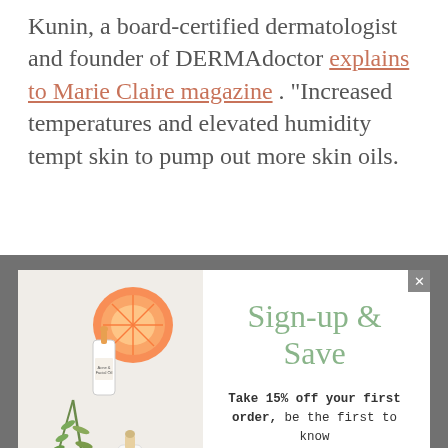Kunin, a board-certified dermatologist and founder of DERMAdoctor explains to Marie Claire magazine . "Increased temperatures and elevated humidity tempt skin to pump out more skin oils.
[Figure (other): Sign-up & Save newsletter modal popup overlay with product image on left (dropper bottle, citrus, herbs, lavender) and sign-up form on right with title 'Sign-up & Save', text about 15% off, email input field, and sign up button]
moisture in your skin. You can also opt for gel moisturizers which are water-based and absorb quickly into the skin without leaving behind any film or residue. As a bonus, you can keep them in the fridge for added cooling benefits which feel